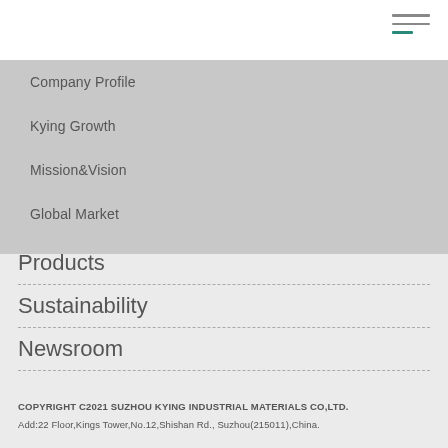[Figure (other): Hamburger menu icon with three horizontal lines, the bottom one in teal/green accent color]
Company Profile
Kying Growth
Mission&Vision
Global Market
Products
Sustainability
Newsroom
COPYRIGHT C2021 SUZHOU KYING INDUSTRIAL MATERIALS CO,LTD.
Add:22 Floor,Kings Tower,No.12,Shishan Rd., Suzhou(215011),China.